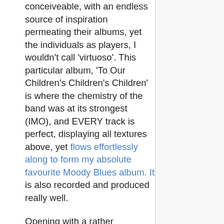conceiveable, with an endless source of inspiration permeating their albums, yet the individuals as players, I wouldn't call 'virtuoso'. This particular album, 'To Our Children's Children's Children' is where the chemistry of the band was at its strongest (IMO), and EVERY track is perfect, displaying all textures above, yet flows effortlessly along to form my absolute favourite Moody Blues album. It is also recorded and produced really well.
Opening with a rather hallucinogenic atmosphere, 'Higher and Higher' showcases the power and eclecticism of the band with some wonderful poetry from Graeme Edge and some really 'hot' guitaring from Justin Hayward. Most keyboard sounds are provided by the Mellotron, of which Mike Pinder was a master of, having worked in the factory which manufactures them (Streetly Electronics) prior to joining the Moodies. 'Eyes of a Child I' is very beautiful, starting with Horn and flute, a soft